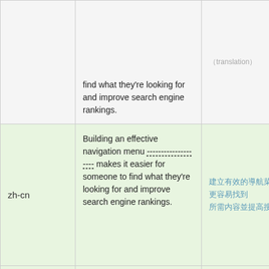| Language | Description | Translation | Action |
| --- | --- | --- | --- |
|  | Building an effective navigation menu makes it easier for someone to find what they're looking for and improve search engine rankings. | （Chinese characters） |  |
| zh-cn | Building an effective navigation menu makes it easier for someone to find what they're looking for and improve search engine rankings. | （Chinese characters） | Details |
| zh-hk | Building an effective navigation menu makes it easier for someone to find what they're looking for and improve search engine rankings. | （Chinese characters） | Details |